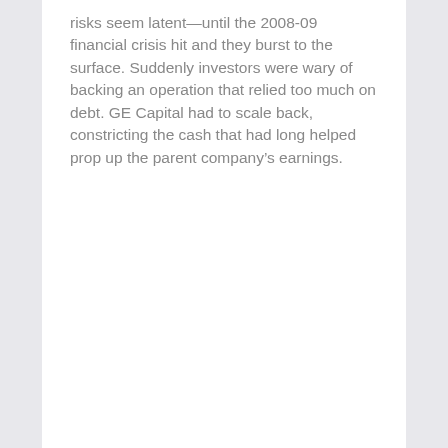risks seem latent—until the 2008-09 financial crisis hit and they burst to the surface. Suddenly investors were wary of backing an operation that relied too much on debt. GE Capital had to scale back, constricting the cash that had long helped prop up the parent company's earnings.